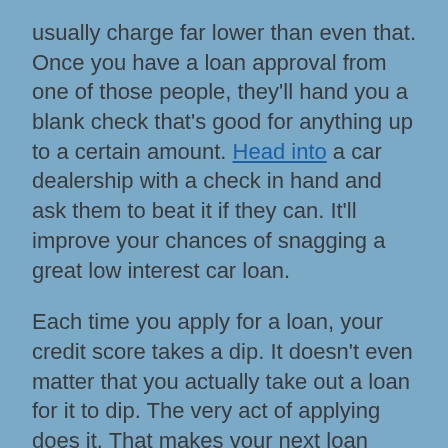usually charge far lower than even that. Once you have a loan approval from one of those people, they'll hand you a blank check that's good for anything up to a certain amount. Head into a car dealership with a check in hand and ask them to beat it if they can. It'll improve your chances of snagging a great low interest car loan.
Each time you apply for a loan, your credit score takes a dip. It doesn't even matter that you actually take out a loan for it to dip. The very act of applying does it. That makes your next loan attempt that much more expensive. Make sure that you make all your loan inquiries and applications within a 15 day period. That way, all your applications will count as one loan, and you won't be damaging your credit score and shooting yourself in the foot. In the end, make sure that you make